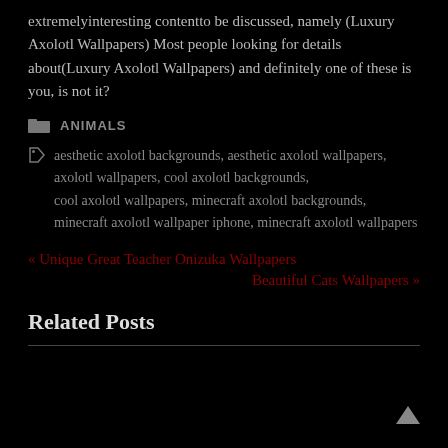extremelyinteresting contentto be discussed, namely (Luxury Axolotl Wallpapers) Most people looking for details about(Luxury Axolotl Wallpapers) and definitely one of these is you, is not it?
ANIMALS
aesthetic axolotl backgrounds, aesthetic axolotl wallpapers, axolotl wallpapers, cool axolotl backgrounds, cool axolotl wallpapers, minecraft axolotl backgrounds, minecraft axolotl wallpaper iphone, minecraft axolotl wallpapers
« Unique Great Teacher Onizuka Wallpapers
Beautiful Cats Wallpapers »
Related Posts